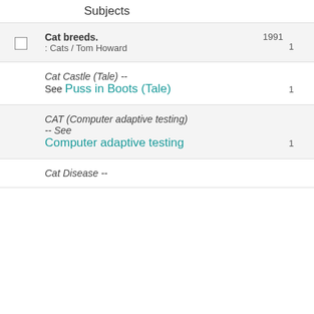Subjects
Cat breeds. : Cats / Tom Howard | 1991 | 1
Cat Castle (Tale) -- See Puss in Boots (Tale) | 1
CAT (Computer adaptive testing) -- See Computer adaptive testing | 1
Cat Disease --